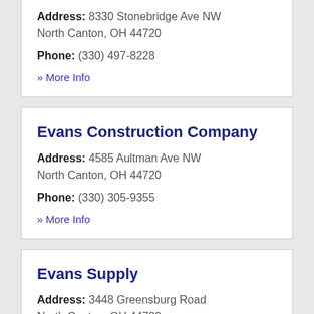Address: 8330 Stonebridge Ave NW North Canton, OH 44720
Phone: (330) 497-8228
» More Info
Evans Construction Company
Address: 4585 Aultman Ave NW North Canton, OH 44720
Phone: (330) 305-9355
» More Info
Evans Supply
Address: 3448 Greensburg Road North Canton, OH 44720